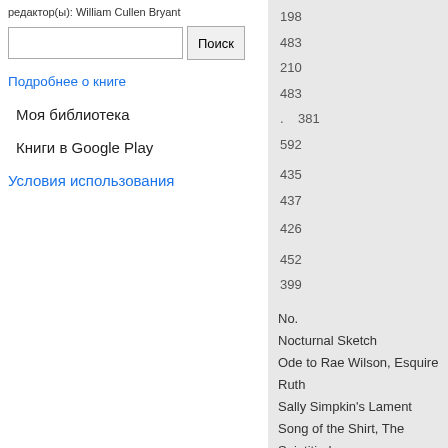редактор(ы): William Cullen Bryant
Поиск
Подробнее о книге
Моя библиотека
Книги в Google Play
Условия использования
198
483
210
483
.   381
592
435
437
426
452
399
No.
Nocturnal Sketch
Ode to Rae Wilson, Esquire
Ruth
Sally Simpkin's Lament
Song of the Shirt, The
Saintitied...